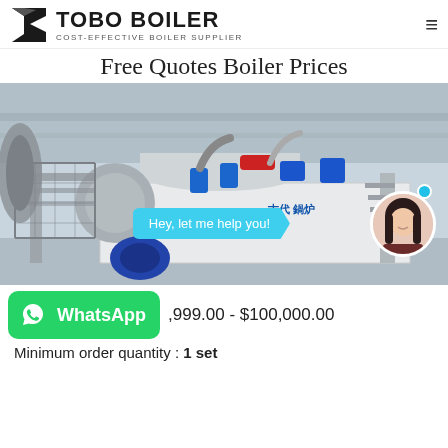[Figure (logo): TOBO BOILER logo with black geometric icon and text 'TOBO BOILER / COST-EFFECTIVE BOILER SUPPLIER']
Free Quotes Boiler Prices
[Figure (photo): Industrial boiler equipment in a large factory hall, showing a large horizontal steam boiler with blue motor, metal walkways, piping, and Chinese text branding. Chat bubble overlay reading 'Hey, let me help you!' and a female customer service avatar.]
,999.00 - $100,000.00
Minimum order quantity : 1 set